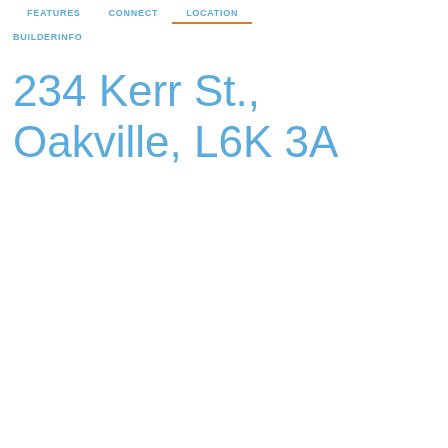FEATURES   CONNECT   LOCATION
BUILDERINFO
234 Kerr St., Oakville, L6K 3A